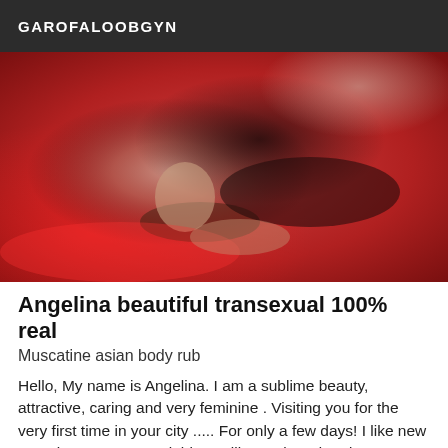GAROFALOOBGYN
[Figure (photo): Photo of a woman in black lingerie lying on a red satin bed]
Angelina beautiful transexual 100% real
Muscatine asian body rub
Hello, My name is Angelina. I am a sublime beauty, attractive, caring and very feminine . Visiting you for the very first time in your city ..... For only a few days! I like new experiences, I am sociable, smiling, cultured and